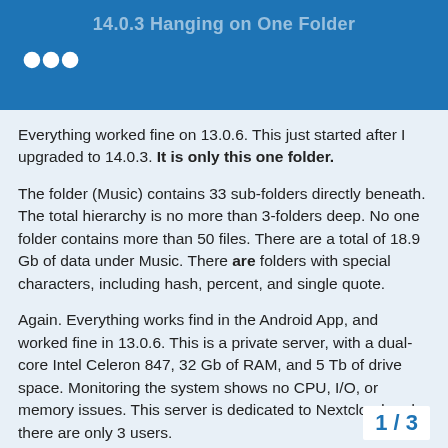14.0.3 Hanging on One Folder
Everything worked fine on 13.0.6. This just started after I upgraded to 14.0.3. It is only this one folder.
The folder (Music) contains 33 sub-folders directly beneath. The total hierarchy is no more than 3-folders deep. No one folder contains more than 50 files. There are a total of 18.9 Gb of data under Music. There are folders with special characters, including hash, percent, and single quote.
Again. Everything works find in the Android App, and worked fine in 13.0.6. This is a private server, with a dual-core Intel Celeron 847, 32 Gb of RAM, and 5 Tb of drive space. Monitoring the system shows no CPU, I/O, or memory issues. This server is dedicated to Nextcloud and there are only 3 users.
Is this the first time you’ve seen this error? (Y/N): Y
Steps to replicate it:
1 / 3